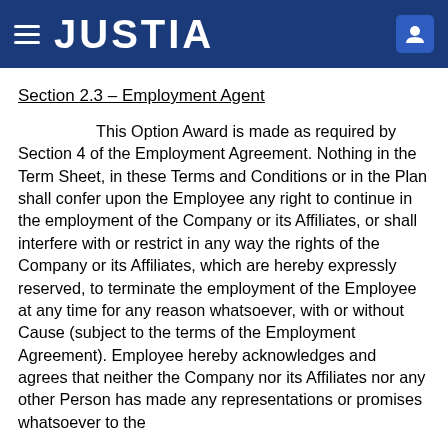JUSTIA
Section 2.3 – Employment Agent
This Option Award is made as required by Section 4 of the Employment Agreement.  Nothing in the Term Sheet, in these Terms and Conditions or in the Plan shall confer upon the Employee any right to continue in the employment of the Company or its Affiliates, or shall interfere with or restrict in any way the rights of the Company or its Affiliates, which are hereby expressly reserved, to terminate the employment of the Employee at any time for any reason whatsoever, with or without Cause (subject to the terms of the Employment Agreement).  Employee hereby acknowledges and agrees that neither the Company nor its Affiliates nor any other Person has made any representations or promises whatsoever to the